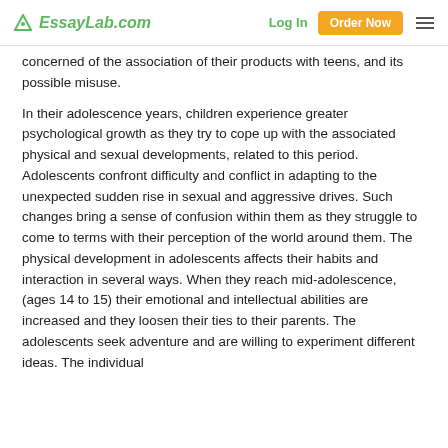EssayLab.com | Log In | Order Now
concerned of the association of their products with teens, and its possible misuse.
In their adolescence years, children experience greater psychological growth as they try to cope up with the associated physical and sexual developments, related to this period. Adolescents confront difficulty and conflict in adapting to the unexpected sudden rise in sexual and aggressive drives. Such changes bring a sense of confusion within them as they struggle to come to terms with their perception of the world around them. The physical development in adolescents affects their habits and interaction in several ways. When they reach mid-adolescence, (ages 14 to 15) their emotional and intellectual abilities are increased and they loosen their ties to their parents. The adolescents seek adventure and are willing to experiment different ideas. The individual